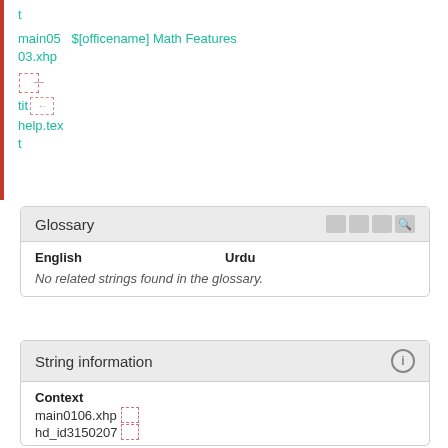t
main05  $[officename] Math Features
03.xhp
[icon] tit[arrow]
help.text
t
| English | Urdu |
| --- | --- |
| No related strings found in the glossary. |  |
Context
main0106.xhp[icon]
hd_id3150207[icon]